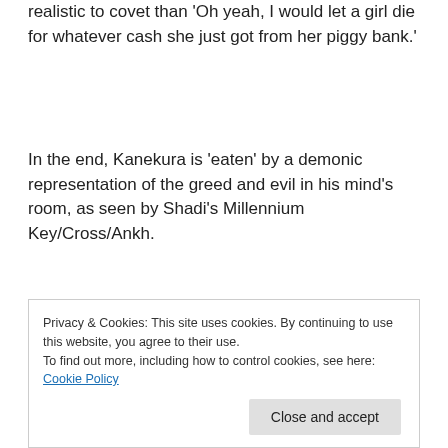realistic to covet than 'Oh yeah, I would let a girl die for whatever cash she just got from her piggy bank.'
In the end, Kanekura is 'eaten' by a demonic representation of the greed and evil in his mind's room, as seen by Shadi's Millennium Key/Cross/Ankh.
Manga!Yugi doesn't think Shadi would know where his Puzzle would be, but in the anime, he noticed Shadi carrying the
reason this time.
Privacy & Cookies: This site uses cookies. By continuing to use this website, you agree to their use.
To find out more, including how to control cookies, see here: Cookie Policy